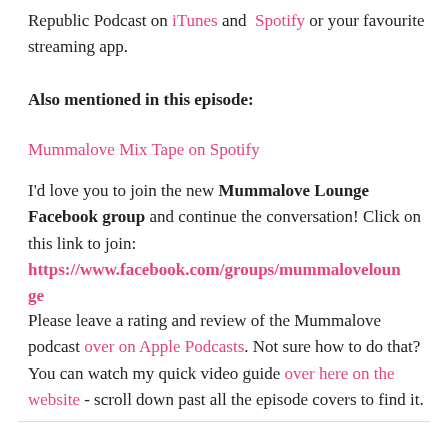Republic Podcast on iTunes and Spotify or your favourite streaming app.
Also mentioned in this episode:
Mummalove Mix Tape on Spotify
I'd love you to join the new Mummalove Lounge Facebook group and continue the conversation! Click on this link to join: https://www.facebook.com/groups/mummaloveloun ge
Please leave a rating and review of the Mummalove podcast over on Apple Podcasts. Not sure how to do that? You can watch my quick video guide over here on the website - scroll down past all the episode covers to find it.